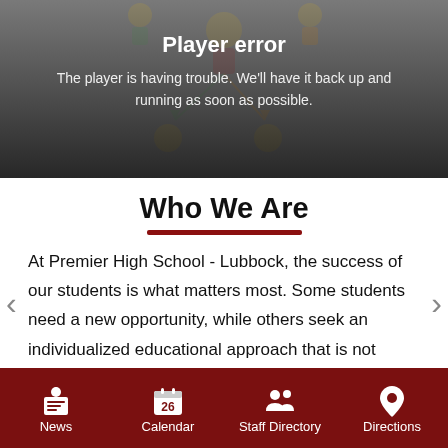[Figure (screenshot): Player error overlay on a cartoon illustration background showing animated characters connected by arrows. Error message displayed over darkened background.]
Player error
The player is having trouble. We'll have it back up and running as soon as possible.
Who We Are
At Premier High School - Lubbock, the success of our students is what matters most. Some students need a new opportunity, while others seek an individualized educational approach that is not offered by traditional schools. Whether a student
News  Calendar  Staff Directory  Directions